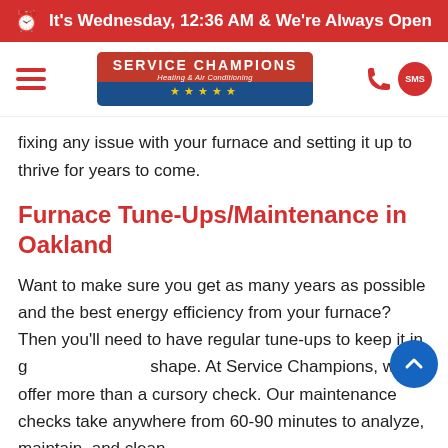It's Wednesday, 12:36 AM & We're Always Open
[Figure (logo): Service Champions Heating & Air Conditioning logo with red/blue background and five yellow stars, with hamburger menu icon on left and phone/SMS icons on right]
fixing any issue with your furnace and setting it up to thrive for years to come.
Furnace Tune-Ups/Maintenance in Oakland
Want to make sure you get as many years as possible and the best energy efficiency from your furnace? Then you'll need to have regular tune-ups to keep it in good shape. At Service Champions, we offer more than a cursory check. Our maintenance checks take anywhere from 60-90 minutes to analyze, maintain, and clean